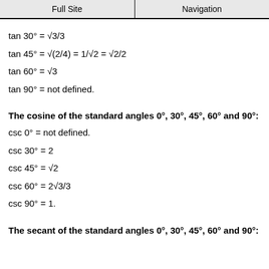Full Site | Navigation
The cosine of the standard angles 0°, 30°, 45°, 60° and 90°:
The secant of the standard angles 0°, 30°, 45°, 60° and 90°: